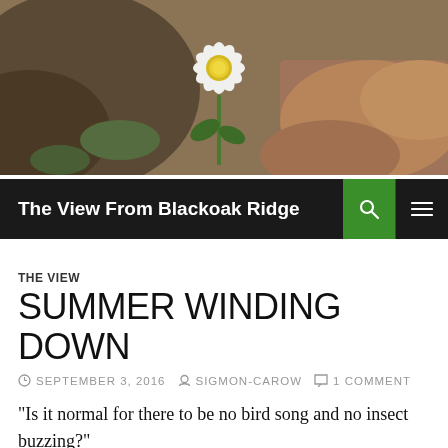[Figure (photo): A white flower with yellow center against rocky background, used as blog header photo]
The View From Blackoak Ridge
THE VIEW
SUMMER WINDING DOWN
SEPTEMBER 3, 2016  SIGMON-CAROW  1 COMMENT
“Is it normal for there to be no bird song and no insect buzzing?”
I am hiking to Hen Wallow Falls with West Coast son, who’s visiting this week, and have been conscious of the silence for the last quarter mile. Inwardly, I am reflecting that the older I